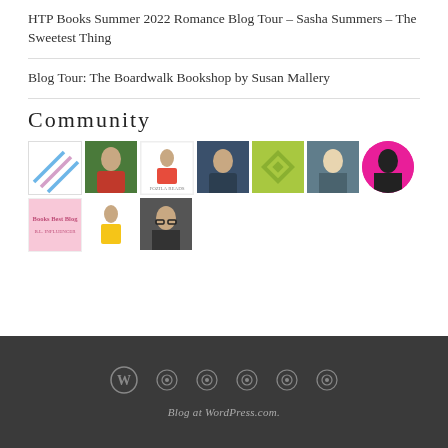HTP Books Summer 2022 Romance Blog Tour – Sasha Summers – The Sweetest Thing
Blog Tour: The Boardwalk Bookshop by Susan Mallery
Community
[Figure (photo): Grid of community member avatar photos and profile images, arranged in two rows of approximately ten thumbnails]
Blog at WordPress.com.